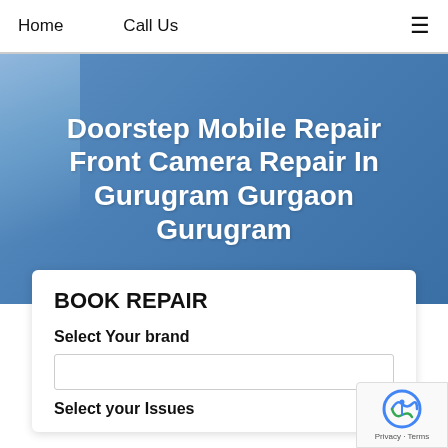Home   Call Us   ☰
Doorstep Mobile Repair Front Camera Repair In Gurugram Gurgaon Gurugram
BOOK REPAIR
Select Your brand
Select your Issues